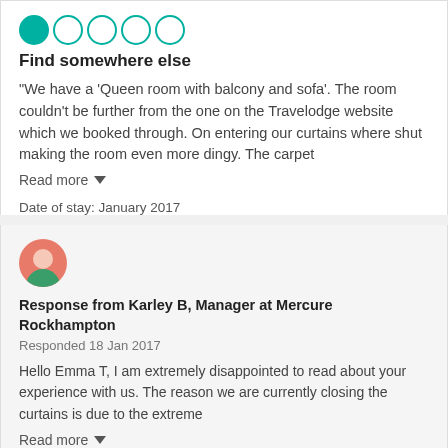[Figure (other): Star rating circles: 1 filled teal circle, 4 empty teal-outlined circles]
Find somewhere else
“We have a ‘Queen room with balcony and sofa’. The room couldn’t be further from the one on the Travelodge website which we booked through. On entering our curtains where shut making the room even more dingy. The carpet
Read more ▾
Date of stay: January 2017
[Figure (illustration): Manager avatar: circular icon with pink/salmon background, person silhouette with green body]
Response from Karley B, Manager at Mercure Rockhampton
Responded 18 Jan 2017
Hello Emma T, I am extremely disappointed to read about your experience with us. The reason we are currently closing the curtains is due to the extreme
Read more ▾
Been to Mercure Rockhampton? Share your experience!